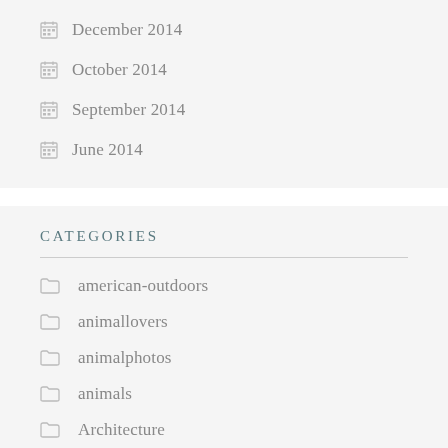December 2014
October 2014
September 2014
June 2014
CATEGORIES
american-outdoors
animallovers
animalphotos
animals
Architecture
Art
Beautiful World